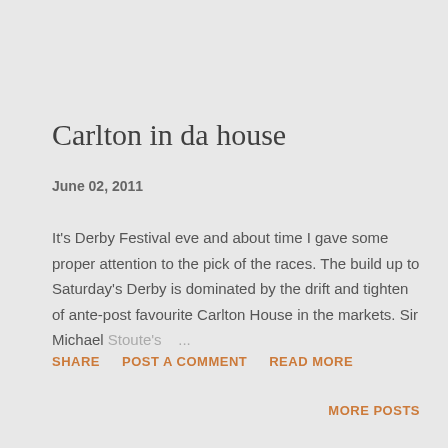Carlton in da house
June 02, 2011
It's Derby Festival eve and about time I gave some proper attention to the pick of the races. The build up to Saturday's Derby is dominated by the drift and tighten of ante-post favourite Carlton House in the markets. Sir Michael Stoute's …
SHARE   POST A COMMENT   READ MORE
MORE POSTS